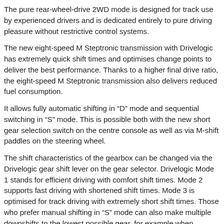The pure rear-wheel-drive 2WD mode is designed for track use by experienced drivers and is dedicated entirely to pure driving pleasure without restrictive control systems.
The new eight-speed M Steptronic transmission with Drivelogic has extremely quick shift times and optimises change points to deliver the best performance. Thanks to a higher final drive ratio, the eight-speed M Steptronic transmission also delivers reduced fuel consumption.
It allows fully automatic shifting in “D” mode and sequential switching in “S” mode. This is possible both with the new short gear selection switch on the centre console as well as via M-shift paddles on the steering wheel.
The shift characteristics of the gearbox can be changed via the Drivelogic gear shift lever on the gear selector. Drivelogic Mode 1 stands for efficient driving with comfort shift times. Mode 2 supports fast driving with shortened shift times. Mode 3 is optimised for track driving with extremely short shift times. Those who prefer manual shifting in “S” mode can also make multiple downshifts to the lowest possible gear, for example when braking into tight corners. An integrated oil cooler ensures the gearbox is protected even when used on the racetrack. BMW’s M engineers made great driving dynamics and the best